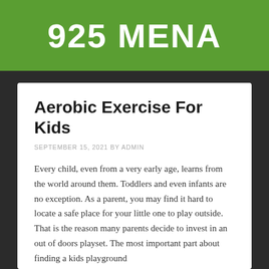925 MENA
Aerobic Exercise For Kids
SEPTEMBER 15, 2021 BY ADMIN
Every child, even from a very early age, learns from the world around them. Toddlers and even infants are no exception. As a parent, you may find it hard to locate a safe place for your little one to play outside. That is the reason many parents decide to invest in an out of doors playset. The most important part about finding a kids playground